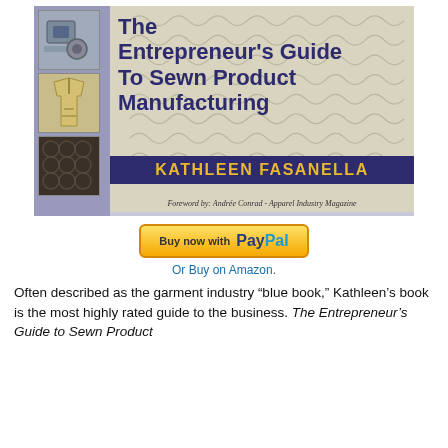[Figure (photo): Book cover of 'The Entrepreneur's Guide To Sewn Product Manufacturing' by Kathleen Fasanella. Left side has a purple/blue strip with three small thumbnail images of garments and hardware. Main area shows a net/mesh background with large dark blue bold title text. A dark navy bar at the bottom displays the author name in gold letters. Below the author bar is italic text: 'Foreword by: Andrée Conrad - Apparel Industry Magazine'.]
[Figure (logo): PayPal 'Buy now with PayPal' button — yellow/gold gradient rounded rectangle with 'Buy now with' text and the PayPal logo in blue.]
Or Buy on Amazon.
Often described as the garment industry “blue book,” Kathleen’s book is the most highly rated guide to the business. The Entrepreneur’s Guide to Sewn Product